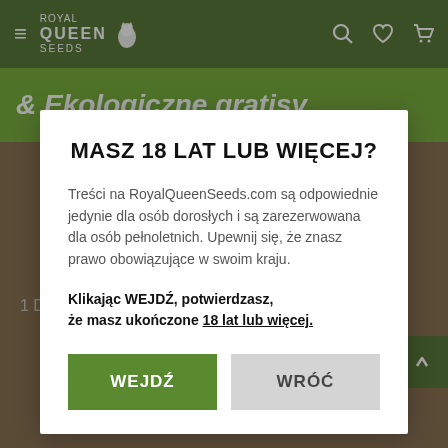[Figure (screenshot): Royal Queen Seeds website navigation bar with hamburger menu, logo, search, wishlist and cart icons on green background]
& Ekologiczne gratisy
MASZ 18 LAT LUB WIĘCEJ?
Treści na RoyalQueenSeeds.com są odpowiednie jedynie dla osób dorosłych i są zarezerwowana dla osób pełnoletnich. Upewnij się, że znasz prawo obowiązujące w swoim kraju.
Klikając WEJDŹ, potwierdzasz, że masz ukończone 18 lat lub więcej.